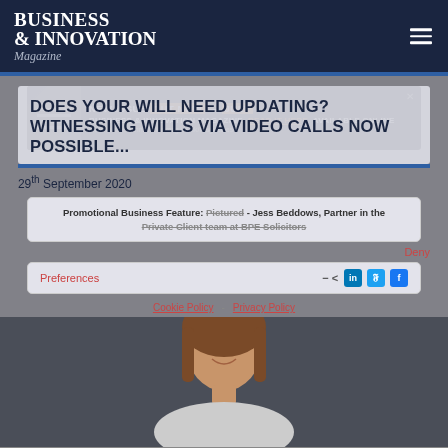BUSINESS & INNOVATION Magazine
[Figure (infographic): Advertisement banner: 'NEW ISSUE OUT NOW – JULY. Business & Innovation Magazine. Read it here. Available online. www.businessinnovationmag.co.uk/magazines']
DOES YOUR WILL NEED UPDATING? WITNESSING WILLS VIA VIDEO CALLS NOW POSSIBLE...
29th September 2020
Promotional Business Feature: Pictured - Jess Beddows, Partner in the Private Client team at BPE Solicitors
Preferences
Cookie Policy  Privacy Policy
[Figure (photo): Portrait photo of a woman with long brown hair, smiling, partially visible from the bottom portion of the page.]